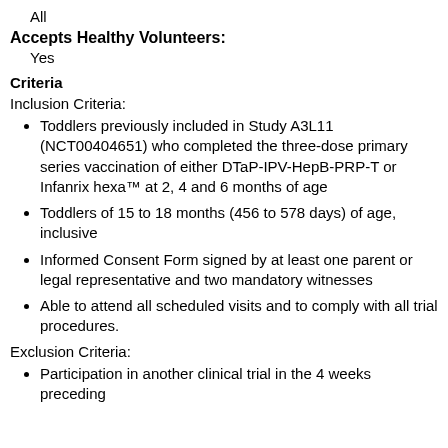All
Accepts Healthy Volunteers:
Yes
Criteria
Inclusion Criteria:
Toddlers previously included in Study A3L11 (NCT00404651) who completed the three-dose primary series vaccination of either DTaP-IPV-HepB-PRP-T or Infanrix hexa™ at 2, 4 and 6 months of age
Toddlers of 15 to 18 months (456 to 578 days) of age, inclusive
Informed Consent Form signed by at least one parent or legal representative and two mandatory witnesses
Able to attend all scheduled visits and to comply with all trial procedures.
Exclusion Criteria:
Participation in another clinical trial in the 4 weeks preceding